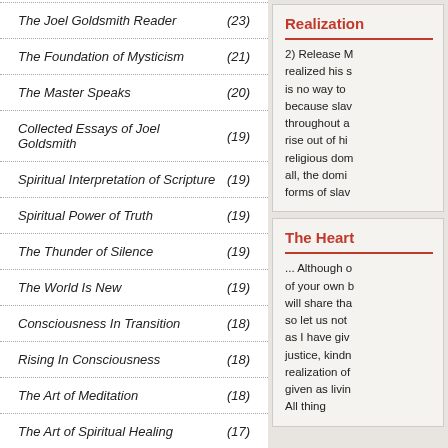The Joel Goldsmith Reader (23)
The Foundation of Mysticism (21)
The Master Speaks (20)
Collected Essays of Joel Goldsmith (19)
Spiritual Interpretation of Scripture (19)
Spiritual Power of Truth (19)
The Thunder of Silence (19)
The World Is New (19)
Consciousness In Transition (18)
Rising In Consciousness (18)
The Art of Meditation (18)
The Art of Spiritual Healing (17)
Leave Your Nets (16)
Realization
2) Release M... realized his s... is no way to ... because slav... throughout a... rise out of hi... religious dom... all, the domi... forms of slav...
The Heart
... Although o... of your own b... will share tha... so let us not ... as I have giv... justice, kindn... realization of... given as livin... All thing...